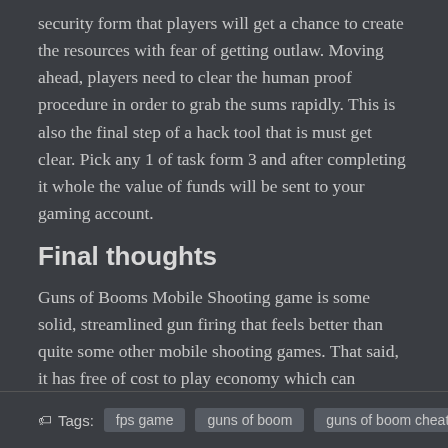security form that players will get a chance to create the resources with fear of getting outlaw. Moving ahead, players need to clear the human proof procedure in order to grab the sums rapidly. This is also the final step of a hack tool that is must get clear. Pick any 1 of task form 3 and after completing it whole the value of funds will be sent to your gaming account.
Final thoughts
Guns of Booms Mobile Shooting game is some solid, streamlined gun firing that feels better than quite some other mobile shooting games. That said, it has free of cost to play economy which can directly influence the result of matches. This is not something that is noticeable in each match, but whenever you notice it, it is annoying.
Tags: fps game  guns of boom  guns of boom cheats